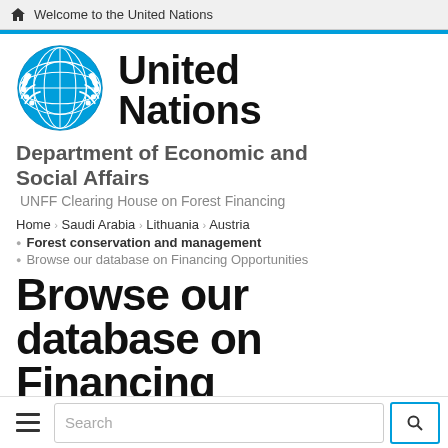Welcome to the United Nations
[Figure (logo): United Nations emblem logo in blue]
United Nations
Department of Economic and Social Affairs
UNFF Clearing House on Forest Financing
Home › Saudi Arabia › Lithuania › Austria
Forest conservation and management
Browse our database on Financing Opportunities
Browse our database on Financing Opportunities